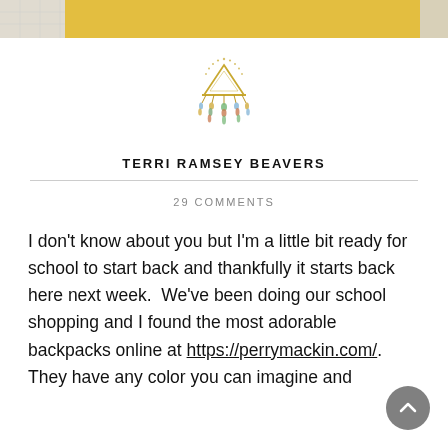[Figure (photo): Top portion of a photo showing a person in a yellow top, partially cropped at the top of the page]
[Figure (logo): Decorative dreamcatcher-style logo with gold triangle, hanging beads and colorful feather-like elements]
TERRI RAMSEY BEAVERS
29 COMMENTS
I don't know about you but I'm a little bit ready for school to start back and thankfully it starts back here next week.  We've been doing our school shopping and I found the most adorable backpacks online at https://perrymackin.com/.  They have any color you can imagine and